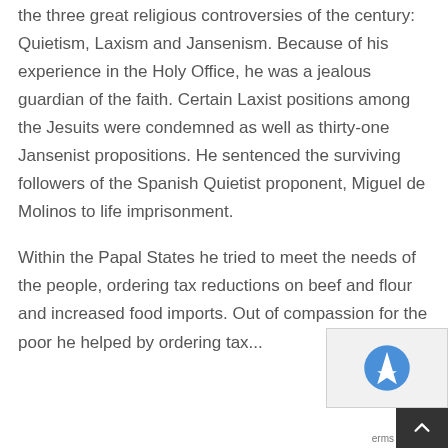the three great religious controversies of the century: Quietism, Laxism and Jansenism. Because of his experience in the Holy Office, he was a jealous guardian of the faith. Certain Laxist positions among the Jesuits were condemned as well as thirty-one Jansenist propositions. He sentenced the surviving followers of the Spanish Quietist proponent, Miguel de Molinos to life imprisonment.
Within the Papal States he tried to meet the needs of the people, ordering tax reductions on beef and flour and increased food imports. Out of compassion for the poor he helped by ordering tax...